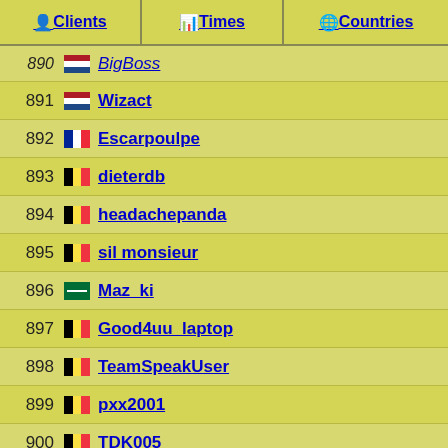Clients | Times | Countries
| # | Client |
| --- | --- |
| 890 | BigBoss |
| 891 | Wizact |
| 892 | Escarpoulpe |
| 893 | dieterdb |
| 894 | headachepanda |
| 895 | sil monsieur |
| 896 | Maz_ki |
| 897 | Good4uu_laptop |
| 898 | TeamSpeakUser |
| 899 | pxx2001 |
| 900 | TDK005 |
Users, ordered
Pages 1 2 3 4 5 6 7 8 9 10 11 12 13 14 15 16 17 18 19 20 21 ...
© 2014-2022 by | github.com/yugecin/tsstats | For reference only, data may de